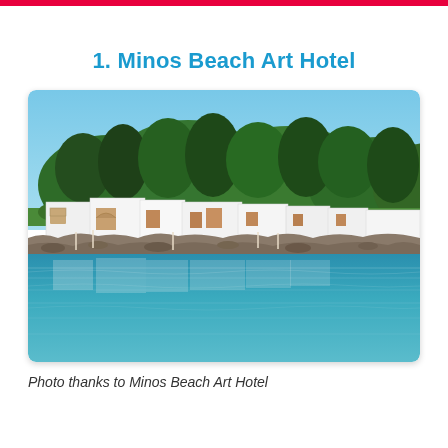1. Minos Beach Art Hotel
[Figure (photo): Waterfront view of Minos Beach Art Hotel showing white cubic bungalow buildings along a rocky shoreline with green pine trees behind, reflected in calm blue Mediterranean water.]
Photo thanks to Minos Beach Art Hotel